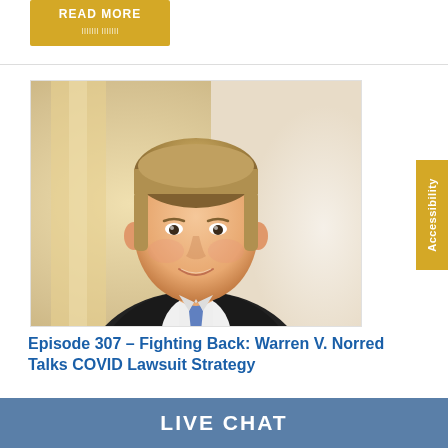[Figure (other): Golden/yellow 'READ MORE' button at top left of page]
[Figure (photo): Professional headshot of a middle-aged man with light brown/blonde hair wearing a dark suit and blue tie, smiling, photographed against a light beige/gold background]
[Figure (other): Vertical gold/yellow 'Accessibility' button on the right side of the page]
Episode 307 – Fighting Back: Warren V. Norred Talks COVID Lawsuit Strategy
Managing member of Norred Law, PLLC, Warren V. Norred
[Figure (other): Blue banner bar at bottom with white bold text 'LIVE CHAT']